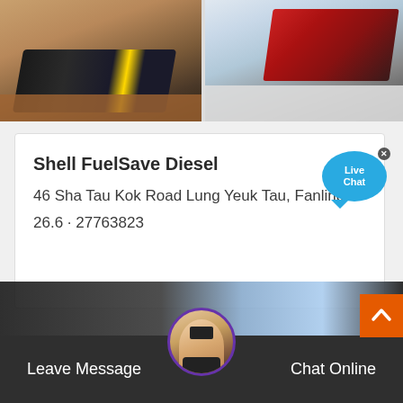[Figure (photo): Two photos side by side showing large industrial crushing/screening machinery at mining/quarrying sites]
Shell FuelSave Diesel
46 Sha Tau Kok Road Lung Yeuk Tau, Fanling
26.6 · 27763823
[Figure (other): Live Chat speech bubble button in blue]
[Figure (other): Customer service representative avatar circle with headset]
Leave Message
Chat Online